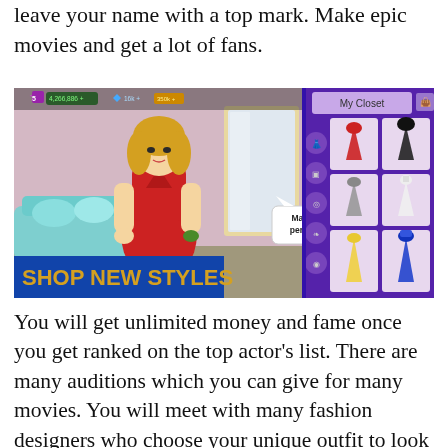leave your name with a top mark. Make epic movies and get a lot of fans.
[Figure (screenshot): Screenshot of a mobile fashion/celebrity game showing a blonde woman in a red dress standing in front of a mirror, with a speech bubble 'Make me the perfect bride!', a 'SHOP NEW STYLES' banner at the bottom left in gold text on blue, and a 'My Closet' panel on the right showing various dresses.]
You will get unlimited money and fame once you get ranked on the top actor's list. There are many auditions which you can give for many movies. You will meet with many fashion designers who choose your unique outfit to look better than the